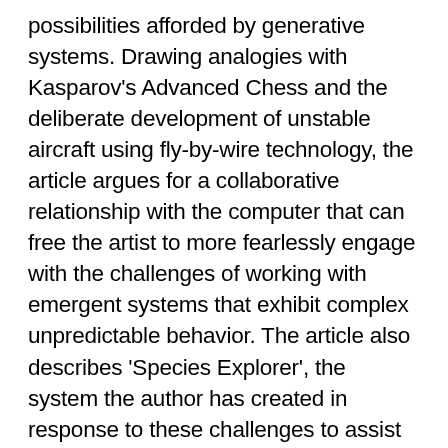possibilities afforded by generative systems. Drawing analogies with Kasparov's Advanced Chess and the deliberate development of unstable aircraft using fly-by-wire technology, the article argues for a collaborative relationship with the computer that can free the artist to more fearlessly engage with the challenges of working with emergent systems that exhibit complex unpredictable behavior. The article also describes 'Species Explorer', the system the author has created in response to these challenges to assist exploration of the possibilities afforded by parametrically driven generative systems. This system provides a framework to allow the user to use a number of different techniques to explore new parameter combinations, including genetic algorithms, and machine learning methods. As the system learns the artist's preferences the relationship with the computer can be considered to change from one of assistance to collaboration